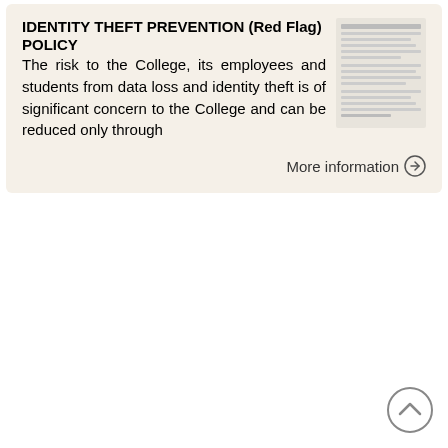IDENTITY THEFT PREVENTION (Red Flag) POLICY The risk to the College, its employees and students from data loss and identity theft is of significant concern to the College and can be reduced only through
[Figure (screenshot): Thumbnail image of a document page showing text content of the Identity Theft Prevention policy]
More information →